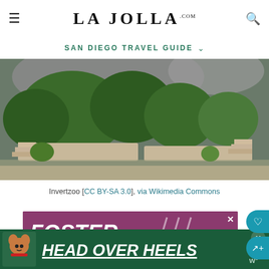LA JOLLA .com
SAN DIEGO TRAVEL GUIDE
[Figure (photo): Outdoor garden scene with lush green bushes, stone steps, and a large curved architectural structure in the background]
Invertzoo [CC BY-SA 3.0], via Wikimedia Commons
[Figure (infographic): Purple advertisement with white bold italic text reading FOSTER ADOPT RESCUE with diagonal lines accent]
[Figure (infographic): Dark green banner advertisement with dog illustration and text HEAD OVER HEELS in bold white italic underlined text]